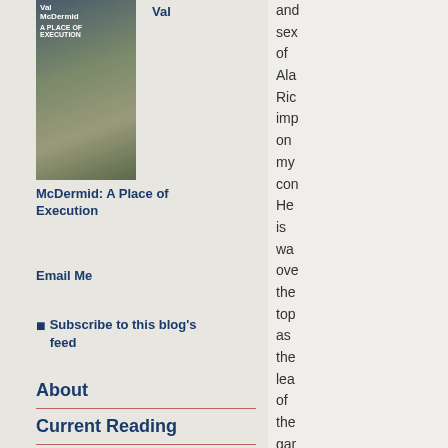[Figure (photo): Book cover of Val McDermid's 'A Place of Execution' showing moorland landscape]
Val
McDermid: A Place of Execution
Email Me
Subscribe to this blog's feed
About
Current Reading
[Figure (photo): Book cover of Tom Keymer book]
Tom Keymer:
and sex of Ala Ric imp on my con He is wa ove the top as the lea of the gar Ha Gr